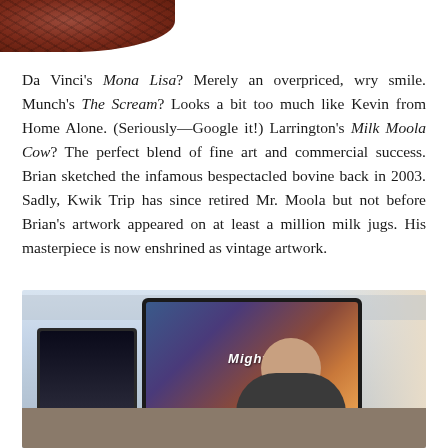[Figure (photo): Partial view of a brown leather ball (top portion cropped) at the top of the page]
Da Vinci's Mona Lisa? Merely an overpriced, wry smile. Munch's The Scream? Looks a bit too much like Kevin from Home Alone. (Seriously—Google it!) Larrington's Milk Moola Cow? The perfect blend of fine art and commercial success. Brian sketched the infamous bespectacled bovine back in 2003. Sadly, Kwik Trip has since retired Mr. Moola but not before Brian's artwork appeared on at least a million milk jugs. His masterpiece is now enshrined as vintage artwork.
[Figure (photo): A man sitting at a desk with a large computer monitor showing a design with the word 'Mighty' and colorful graphics. A smaller monitor is visible to the left. The man is bald and wearing a dark t-shirt, smiling at the camera. Office environment in the background.]